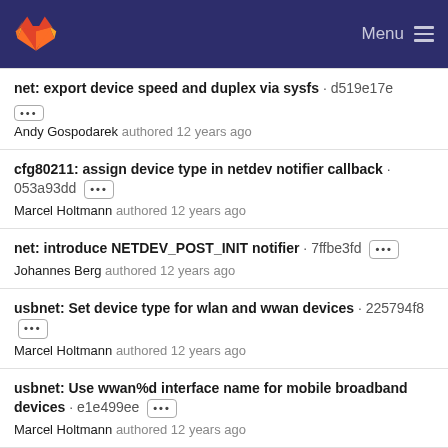Menu
net: export device speed and duplex via sysfs · d519e17e
Andy Gospodarek authored 12 years ago
cfg80211: assign device type in netdev notifier callback · 053a93dd
Marcel Holtmann authored 12 years ago
net: introduce NETDEV_POST_INIT notifier · 7ffbe3fd
Johannes Berg authored 12 years ago
usbnet: Set device type for wlan and wwan devices · 225794f8
Marcel Holtmann authored 12 years ago
usbnet: Use wwan%d interface name for mobile broadband devices · e1e499ee
Marcel Holtmann authored 12 years ago